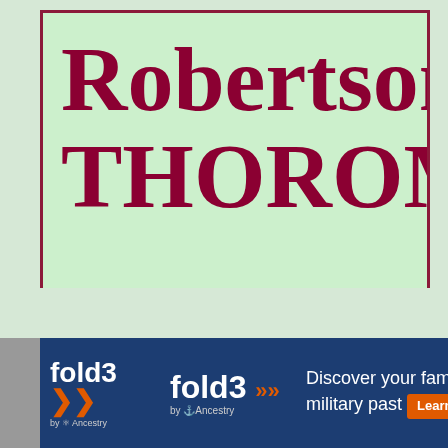Robertson THOROMAN (ID #I14641)
[Figure (infographic): fold3 by Ancestry advertisement banner: 'Discover your family's military past' with Learn More button and old photograph]